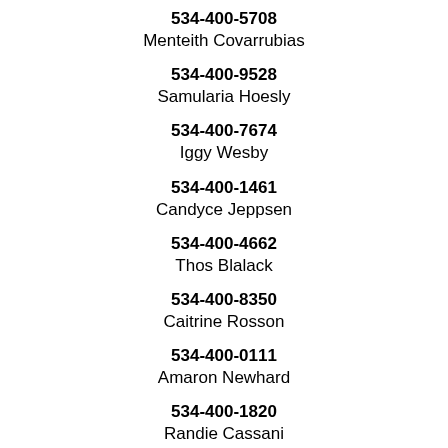534-400-5708
Menteith Covarrubias
534-400-9528
Samularia Hoesly
534-400-7674
Iggy Wesby
534-400-1461
Candyce Jeppsen
534-400-4662
Thos Blalack
534-400-8350
Caitrine Rosson
534-400-0111
Amaron Newhard
534-400-1820
Randie Cassani
534-400-3825
Dawannah Colandrea